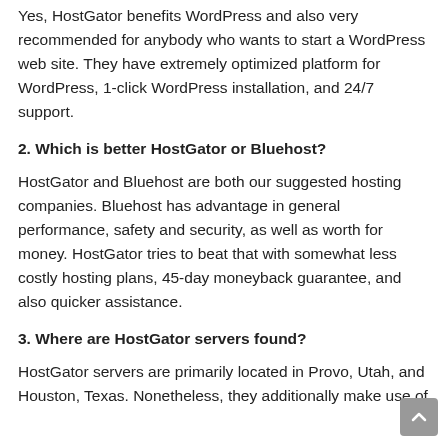Yes, HostGator benefits WordPress and also very recommended for anybody who wants to start a WordPress web site. They have extremely optimized platform for WordPress, 1-click WordPress installation, and 24/7 support.
2. Which is better HostGator or Bluehost?
HostGator and Bluehost are both our suggested hosting companies. Bluehost has advantage in general performance, safety and security, as well as worth for money. HostGator tries to beat that with somewhat less costly hosting plans, 45-day moneyback guarantee, and also quicker assistance.
3. Where are HostGator servers found?
HostGator servers are primarily located in Provo, Utah, and Houston, Texas. Nonetheless, they additionally make use of